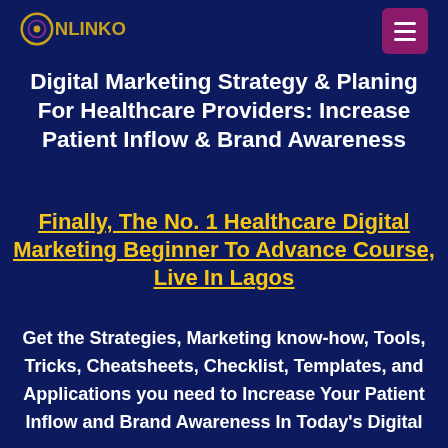[Figure (logo): Onlinko logo with circular swirl icon and text ONLINKO in gold/yellow]
Digital Marketing Strategy & Planing For Healthcare Providers: Increase Patient Inflow & Brand Awareness
Finally, The No. 1 Healthcare Digital Marketing Beginner To Advance Course, Live In Lagos
Get the Strategies, Marketing know-how, Tools, Tricks, Cheatsheets, Checklist, Templates, and Applications you need to Increase Your Patient Inflow and Brand Awareness In Today's Digital